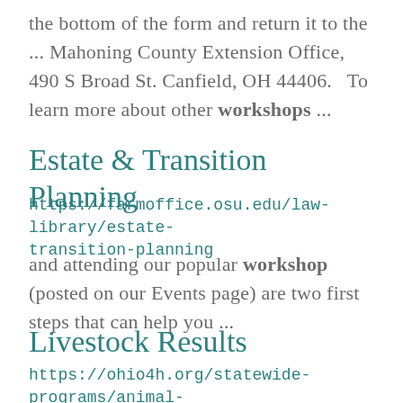the bottom of the form and return it to the ... Mahoning County Extension Office, 490 S Broad St. Canfield, OH 44406.   To learn more about other workshops ...
Estate & Transition Planning
https://farmoffice.osu.edu/law-library/estate-transition-planning
and attending our popular workshop (posted on our Events page) are two first steps that can help you ...
Livestock Results
https://ohio4h.org/statewide-programs/animal-sciences/livestock/livestock-results